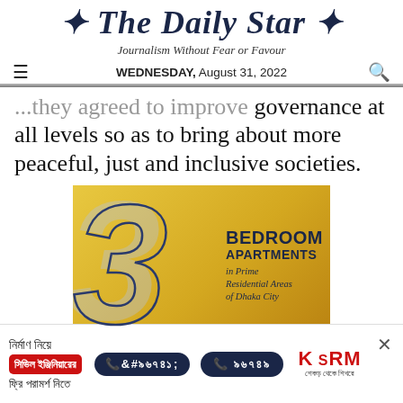The Daily Star
Journalism Without Fear or Favour
WEDNESDAY, August 31, 2022
governance at all levels so as to bring about more peaceful, just and inclusive societies.
[Figure (advertisement): Advertisement for 3 Bedroom Apartments in Prime Residential Areas of Dhaka City. Gold background with large stylized number 3 and navy blue text.]
[Figure (advertisement): KSRM advertisement in Bengali: civil engineering consultation banner with phone number 16741]